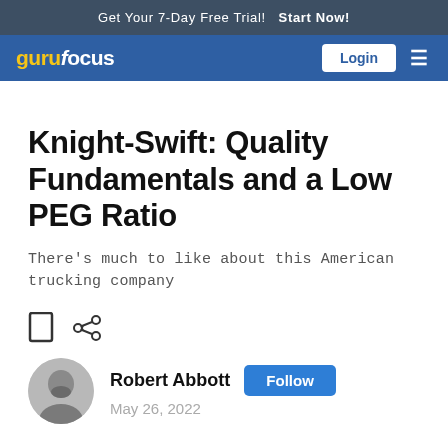Get Your 7-Day Free Trial!  Start Now!
[Figure (logo): GuruFocus logo with navigation bar including Login button and hamburger menu]
Knight-Swift: Quality Fundamentals and a Low PEG Ratio
There's much to like about this American trucking company
Robert Abbott  Follow  May 26, 2022